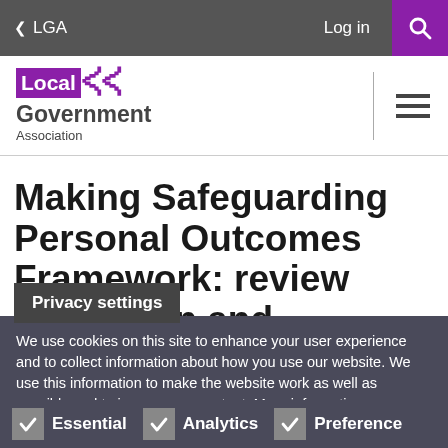< LGA   Log in
[Figure (logo): Local Government Association logo with purple branding]
Making Safeguarding Personal Outcomes Framework: review expansion and
Privacy settings
We use cookies on this site to enhance your user experience and to collect information about how you use our website. We use this information to make the website work as well as possible and to improve our content. More information
Essential   Analytics   Preference